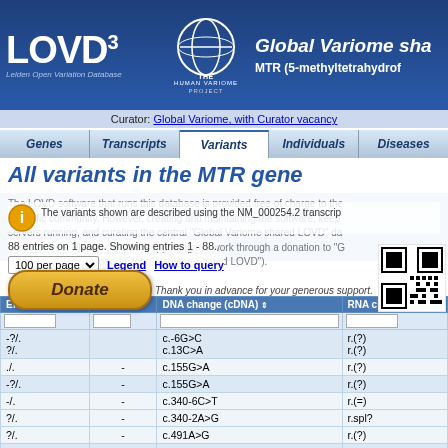Global Variome shared LOVD - MTR (5-methyltetrahydrofolate...)
Curator: Global Variome, with Curator vacancy
All variants in the MTR gene
The variants shown are described using the NM_000254.2 transcript
88 entries on 1 page. Showing entries 1 - 88.
| Effect | Exon | DNA change (cDNA) | RNA change |
| --- | --- | --- | --- |
| -?/.
?/. |  | c.-6G>C
c.13C>A | r.(?)
r.(?) |
| ./. | - | c.155G>A | r.(?) |
| -?/. | - | c.155G>A | r.(?) |
| -/. | - | c.340-6C>T | r.(=) |
| ?/. | - | c.340-2A>G | r.spl? |
| ?/. | - | c.491A>G | r.(?) |
| -/. | - | c.502+10dup | r.(=) |
| ?/. | - | c.621T>G | r.(?) |
| +?/. | - | c.638_639del | r.(?) |